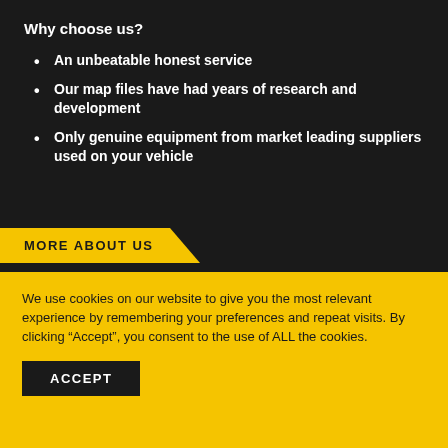Why choose us?
An unbeatable honest service
Our map files have had years of research and development
Only genuine equipment from market leading suppliers used on your vehicle
MORE ABOUT US
We use cookies on our website to give you the most relevant experience by remembering your preferences and repeat visits. By clicking “Accept”, you consent to the use of ALL the cookies.
ACCEPT